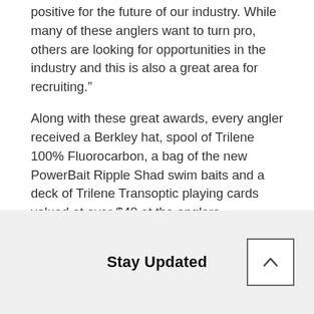positive for the future of our industry. While many of these anglers want to turn pro, others are looking for opportunities in the industry and this is also a great area for recruiting."
Along with these great awards, every angler received a Berkley hat, spool of Trilene 100% Fluorocarbon, a bag of the new PowerBait Ripple Shad swim baits and a deck of Trilene Transoptic playing cards valued at over $40 at the anglers registration. The winning team of Ben Cleary and Bo Page from the University of Georgia also received an Abu Garcia Revo STX reel and Vendetta rod along with a spool of Berkley Trilene Transoptic line and digital scale.
Stay Updated